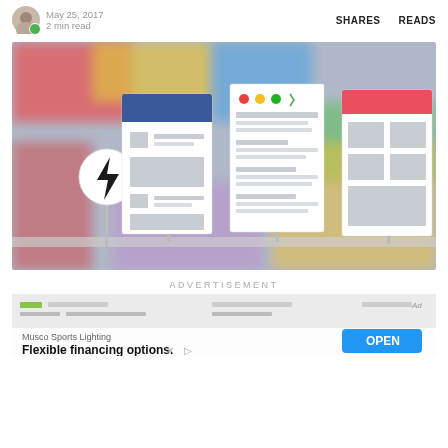May 25, 2017  2 min read  SHARES  READS
[Figure (illustration): Hero illustration showing three UI mockup cards (mobile and web app screens) with a lightning bolt AMP icon on a pole, set against a blurred colorful background]
ADVERTISEMENT
[Figure (screenshot): Advertisement banner for Musco Sports Lighting with text 'Flexible financing options.' and an OPEN button]